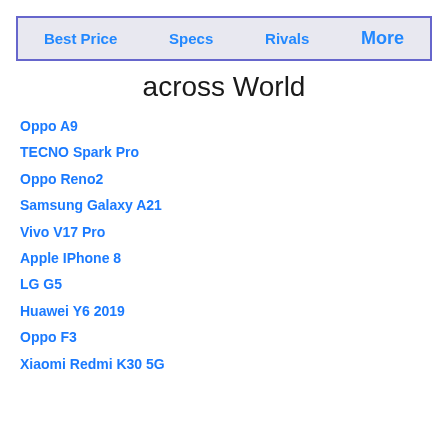Best Price   Specs   Rivals   More
across World
Oppo A9
TECNO Spark Pro
Oppo Reno2
Samsung Galaxy A21
Vivo V17 Pro
Apple IPhone 8
LG G5
Huawei Y6 2019
Oppo F3
Xiaomi Redmi K30 5G